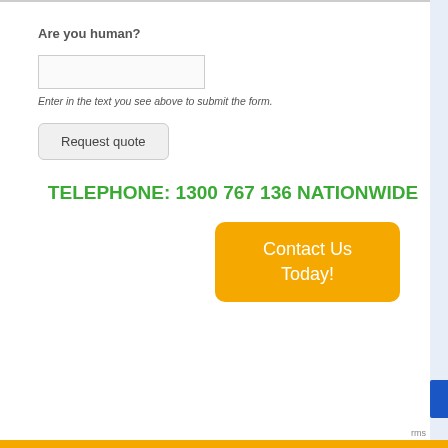Are you human?
Enter in the text you see above to submit the form.
Request quote
TELEPHONE: 1300 767 136 NATIONWIDE
Contact Us Today!